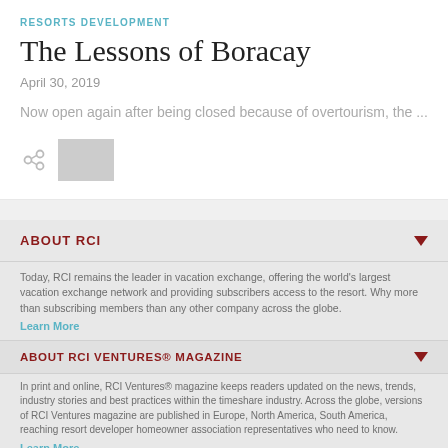RESORTS DEVELOPMENT
The Lessons of Boracay
April 30, 2019
Now open again after being closed because of overtourism, the ...
ABOUT RCI
Today, RCI remains the leader in vacation exchange, offering the world's largest vacation exchange network and providing subscribers access to the resort. Why more than subscribing members than any other company across the globe. Learn More
ABOUT RCI VENTURES® MAGAZINE
In print and online, RCI Ventures® magazine keeps readers updated on the news, trends, industry stories and best practices within the timeshare industry. Across the globe, versions of RCI Ventures magazine are published in Europe, North America, South America, reaching resort developer homeowner association representatives who need to know. Learn More
[Figure (logo): RCI Ventures large logo watermark at bottom of page]